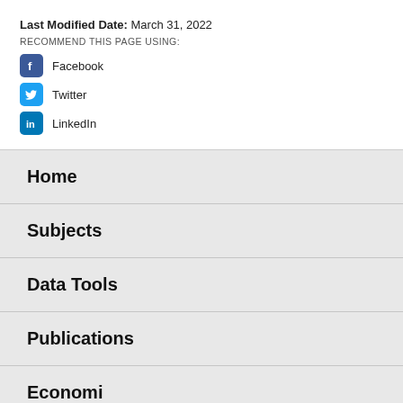Last Modified Date: March 31, 2022
RECOMMEND THIS PAGE USING:
Facebook
Twitter
LinkedIn
Home
Subjects
Data Tools
Publications